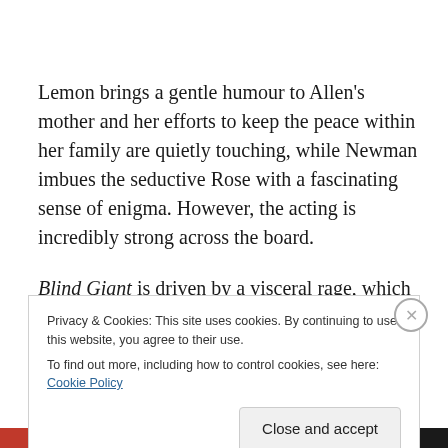Lemon brings a gentle humour to Allen's mother and her efforts to keep the peace within her family are quietly touching, while Newman imbues the seductive Rose with a fascinating sense of enigma. However, the acting is incredibly strong across the board.

Blind Giant is driven by a visceral rage, which Flack's production captures superbly. At times it feels as if Sewell
Privacy & Cookies: This site uses cookies. By continuing to use this website, you agree to their use.
To find out more, including how to control cookies, see here: Cookie Policy
Close and accept